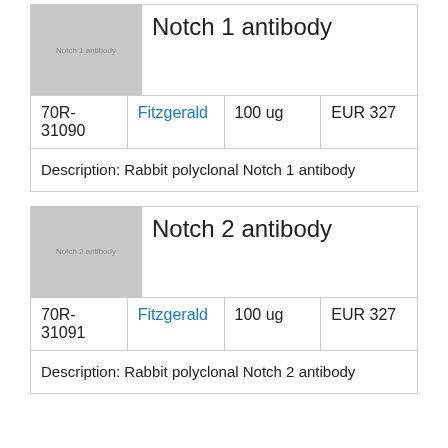[Figure (photo): Placeholder image for Notch 1 antibody product]
Notch 1 antibody
| Product ID | Supplier | Quantity | Price |
| --- | --- | --- | --- |
| 70R-31090 | Fitzgerald | 100 ug | EUR 327 |
Description: Rabbit polyclonal Notch 1 antibody
[Figure (photo): Placeholder image for Notch 2 antibody product]
Notch 2 antibody
| Product ID | Supplier | Quantity | Price |
| --- | --- | --- | --- |
| 70R-31091 | Fitzgerald | 100 ug | EUR 327 |
Description: Rabbit polyclonal Notch 2 antibody